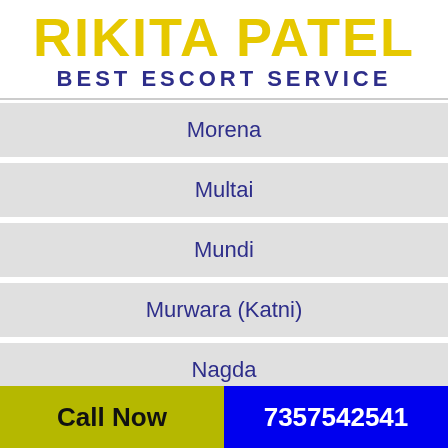RIKITA PATEL
BEST ESCORT SERVICE
Morena
Multai
Mundi
Murwara (Katni)
Nagda
Nainpur
Call Now   7357542541